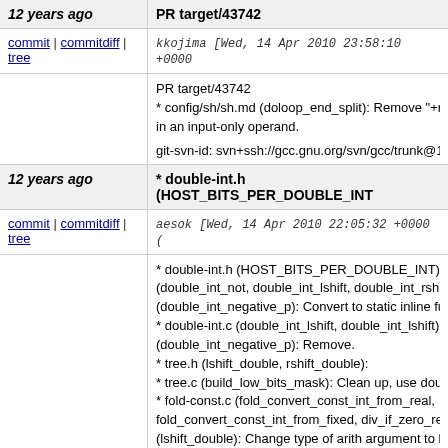12 years ago | PR target/43742
commit | commitdiff | tree   kkojima [Wed, 14 Apr 2010 23:58:10 +0000
PR target/43742
* config/sh/sh.md (doloop_end_split): Remove "+r" in an input-only operand.

git-svn-id: svn+ssh://gcc.gnu.org/svn/gcc/trunk@1
12 years ago | * double-int.h (HOST_BITS_PER_DOUBLE_INT…
commit | commitdiff | tree   aesok [Wed, 14 Apr 2010 22:05:32 +0000 (
* double-int.h (HOST_BITS_PER_DOUBLE_INT):
(double_int_not, double_int_lshift, double_int_rshift
(double_int_negative_p): Convert to static inline fu
* double-int.c (double_int_lshift, double_int_lshift):
(double_int_negative_p): Remove.
* tree.h (lshift_double, rshift_double):
* tree.c (build_low_bits_mask): Clean up, use doub
* fold-const.c (fold_convert_const_int_from_real,
fold_convert_const_int_from_fixed, div_if_zero_re
(lshift_double): Change type of arith argument to b
(rshift_double): Change type of arith argument to b
comment.
* expmed.c (mask_rtx, lshift_value): (Ditto.).

git-svn-id: svn+ssh://gcc.gnu.org/svn/gcc/trunk@1